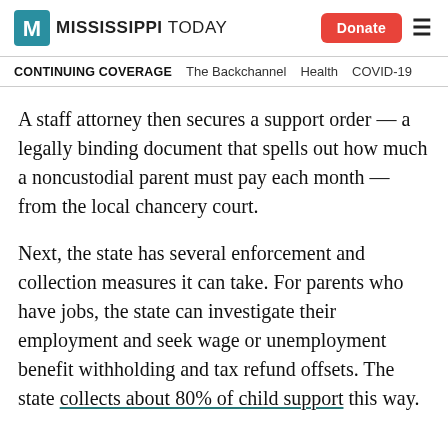MISSISSIPPI TODAY | Donate
CONTINUING COVERAGE  The Backchannel  Health  COVID-19
A staff attorney then secures a support order — a legally binding document that spells out how much a noncustodial parent must pay each month — from the local chancery court.
Next, the state has several enforcement and collection measures it can take. For parents who have jobs, the state can investigate their employment and seek wage or unemployment benefit withholding and tax refund offsets. The state collects about 80% of child support this way.